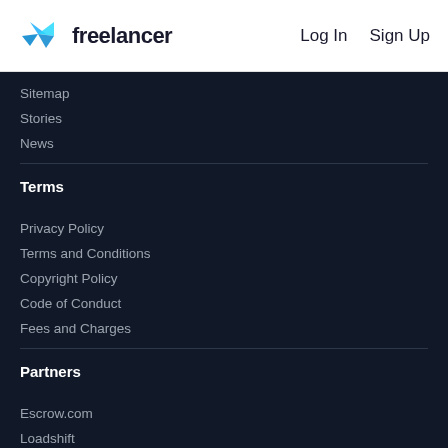[Figure (logo): Freelancer logo with blue geometric bird icon and 'freelancer' wordmark]
Log In   Sign Up
Sitemap
Stories
News
Terms
Privacy Policy
Terms and Conditions
Copyright Policy
Code of Conduct
Fees and Charges
Partners
Escrow.com
Loadshift